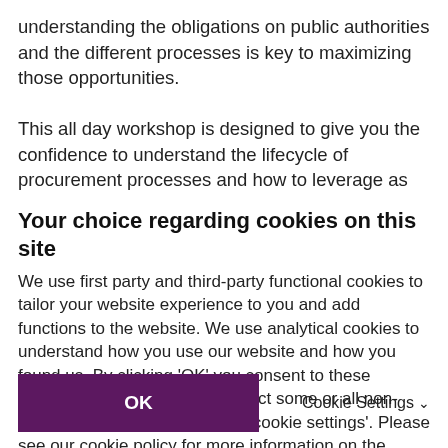understanding the obligations on public authorities and the different processes is key to maximizing those opportunities.
This all day workshop is designed to give you the confidence to understand the lifecycle of procurement processes and how to leverage as much benefit as you can from each stage, whilst protecting your position. The
Your choice regarding cookies on this site
We use first party and third-party functional cookies to tailor your website experience to you and add functions to the website. We use analytical cookies to understand how you use our website and how you found us. By clicking 'OK' you consent to these cookies. If you would like to reject some or all non-essential cookies, please click 'cookie settings'. Please see our cookie policy for more information on the cookies we use.
OK
Cookie Settings